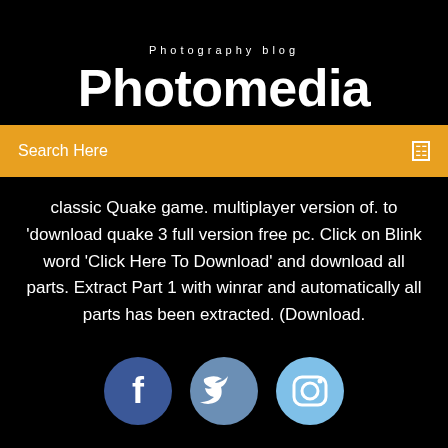Photography blog
Photomedia
Search Here
classic Quake game. multiplayer version of. to 'download quake 3 full version free pc. Click on Blink word 'Click Here To Download' and download all parts. Extract Part 1 with winrar and automatically all parts has been extracted. (Download.
[Figure (illustration): Three social media icons: Facebook (dark blue circle with f), Twitter (medium blue circle with bird), Instagram (light blue circle with camera icon)]